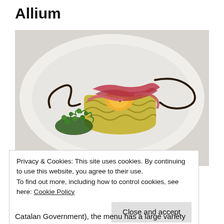Allium
[Figure (photo): A plated dish on a white oval plate: a round timbale of artichoke and potato topped with a fried egg yolk and draped with thin slices of cured ham (jamón), garnished with micro greens and a balsamic glaze drizzle.]
Privacy & Cookies: This site uses cookies. By continuing to use this website, you agree to their use.
To find out more, including how to control cookies, see here: Cookie Policy
Catalan Government), the menu has a large variety